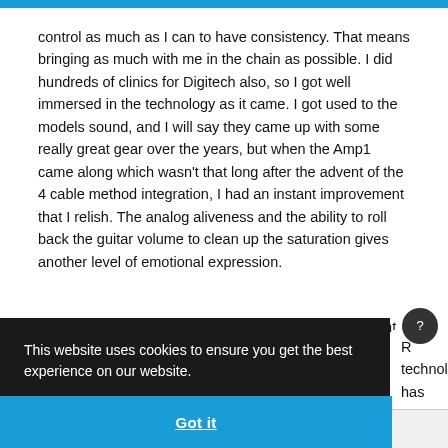control as much as I can to have consistency. That means bringing as much with me in the chain as possible. I did hundreds of clinics for Digitech also, so I got well immersed in the technology as it came. I got used to the models sound, and I will say they came up with some really great gear over the years, but when the Amp1 came along which wasn't that long after the advent of the 4 cable method integration, I had an instant improvement that I relish. The analog aliveness and the ability to roll back the guitar volume to clean up the saturation gives another level of emotional expression.
I've tried the Fractal gear twice in maybe 5 years. I went through
R technology has retty gun shy r popular these one because of
This website uses cookies to ensure you get the best experience on our website.
Learn more
Got it